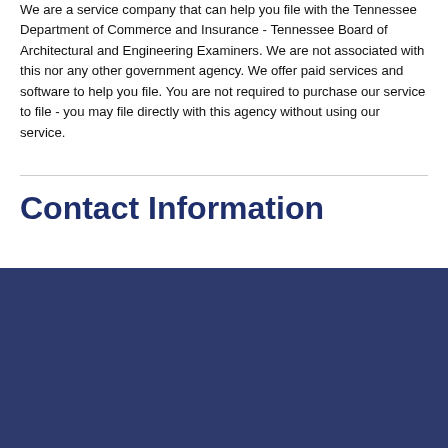We are a service company that can help you file with the Tennessee Department of Commerce and Insurance - Tennessee Board of Architectural and Engineering Examiners. We are not associated with this nor any other government agency. We offer paid services and software to help you file. You are not required to purchase our service to file - you may file directly with this agency without using our service.
Contact Information
Physical address:
This website uses cookies. We use cookies to personalise content and ads, to provide social media features and to analyse our traffic. We also share information about your use of our site with our social media, advertising and analytics partners who may combine it with other information that you've provided to them or that they've collected from your use of their services. You consent to our cookies if you continue to use our website.